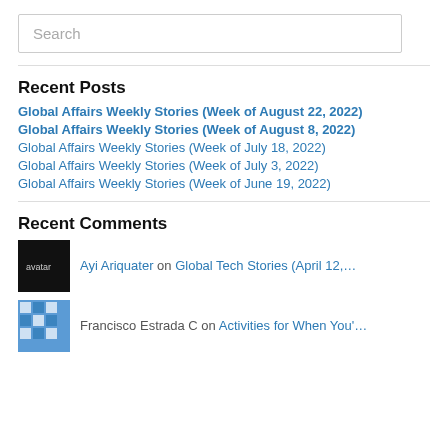Search
Recent Posts
Global Affairs Weekly Stories (Week of August 22, 2022)
Global Affairs Weekly Stories (Week of August 8, 2022)
Global Affairs Weekly Stories (Week of July 18, 2022)
Global Affairs Weekly Stories (Week of July 3, 2022)
Global Affairs Weekly Stories (Week of June 19, 2022)
Recent Comments
Ayi Ariquater on Global Tech Stories (April 12,…
Francisco Estrada C on Activities for When You'…